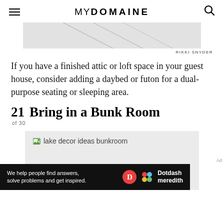MYDOMAINE
[Figure (photo): Top portion of a room interior photo, light tones, partial view]
RIKKI SNYDER
If you have a finished attic or loft space in your guest house, consider adding a daybed or futon for a dual-purpose seating or sleeping area.
21 Bring in a Bunk Room
of 30
[Figure (photo): lake decor ideas bunkroom - image placeholder]
Ad
[Figure (logo): Dotdash Meredith advertisement banner: We help people find answers, solve problems and get inspired.]